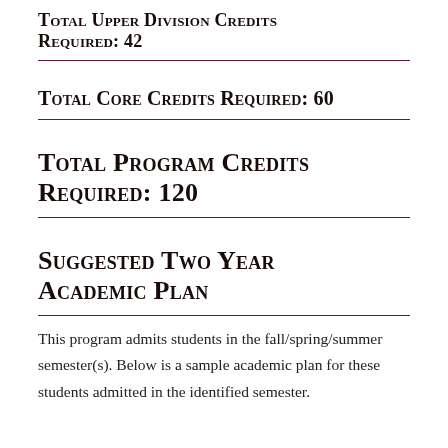Total Upper Division Credits Required: 42
Total Core Credits Required: 60
Total Program Credits Required: 120
Suggested Two Year Academic Plan
This program admits students in the fall/spring/summer semester(s). Below is a sample academic plan for these students admitted in the identified semester.